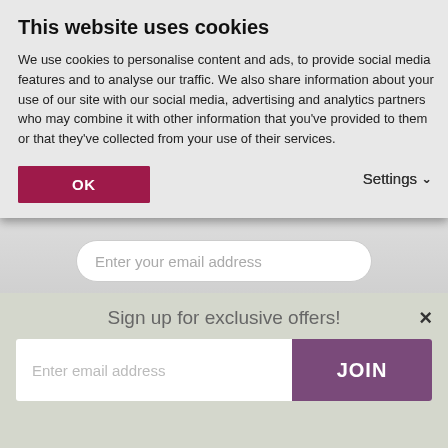This website uses cookies
We use cookies to personalise content and ads, to provide social media features and to analyse our traffic. We also share information about your use of our site with our social media, advertising and analytics partners who may combine it with other information that you've provided to them or that they've collected from your use of their services.
OK
Settings
Enter your email address
JOIN NOW →
[Figure (infographic): Social media icons: Facebook, Twitter, YouTube, Pinterest, Instagram]
Sign up for exclusive offers!
Enter email address
JOIN